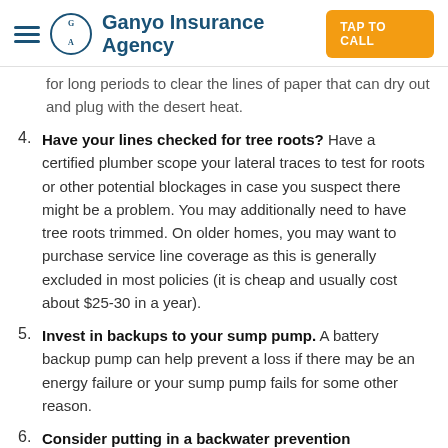Ganyo Insurance Agency
for long periods to clear the lines of paper that can dry out and plug with the desert heat.
4. Have your lines checked for tree roots? Have a certified plumber scope your lateral traces to test for roots or other potential blockages in case you suspect there might be a problem. You may additionally need to have tree roots trimmed. On older homes, you may want to purchase service line coverage as this is generally excluded in most policies (it is cheap and usually cost about $25-30 in a year).
5. Invest in backups to your sump pump. A battery backup pump can help prevent a loss if there may be an energy failure or your sump pump fails for some other reason.
6. Consider putting in a backwater prevention